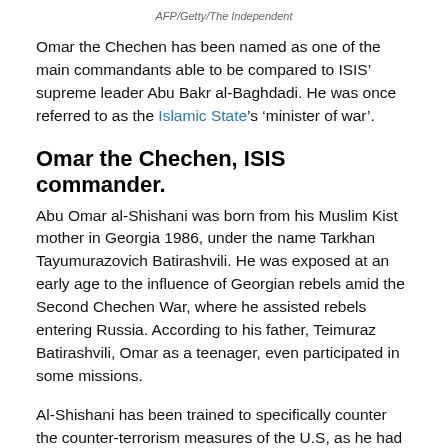AFP/Getty/The Independent
Omar the Chechen has been named as one of the main commandants able to be compared to ISIS’ supreme leader Abu Bakr al-Baghdadi. He was once referred to as the Islamic State’s ‘minister of war’.
Omar the Chechen, ISIS commander.
Abu Omar al-Shishani was born from his Muslim Kist mother in Georgia 1986, under the name Tarkhan Tayumurazovich Batirashvili. He was exposed at an early age to the influence of Georgian rebels amid the Second Chechen War, where he assisted rebels entering Russia. According to his father, Teimuraz Batirashvili, Omar as a teenager, even participated in some missions.
Al-Shishani has been trained to specifically counter the counter-terrorism measures of the U.S, as he had fought in Chechnya as a rebel before he got enlisted in Georgia’s